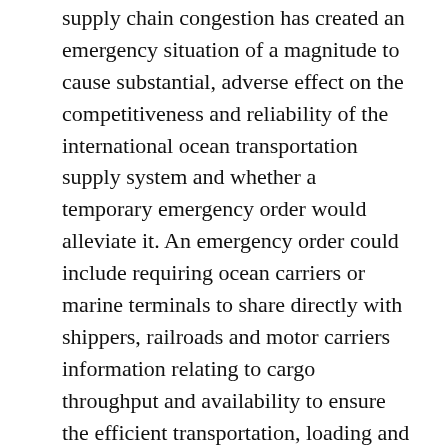supply chain congestion has created an emergency situation of a magnitude to cause substantial, adverse effect on the competitiveness and reliability of the international ocean transportation supply system and whether a temporary emergency order would alleviate it. An emergency order could include requiring ocean carriers or marine terminals to share directly with shippers, railroads and motor carriers information relating to cargo throughput and availability to ensure the efficient transportation, loading and unloading of cargo.
Why it matters: Government emergency orders are considered a last resort in dealing with